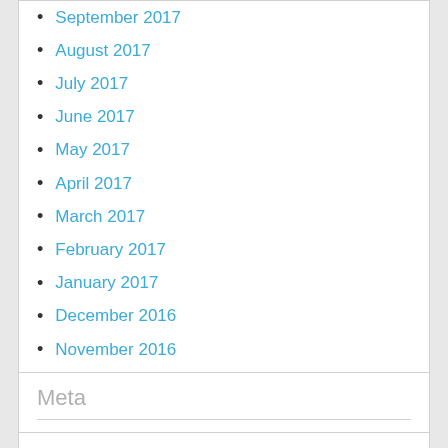September 2017
August 2017
July 2017
June 2017
May 2017
April 2017
March 2017
February 2017
January 2017
December 2016
November 2016
October 2016
September 2016
Meta